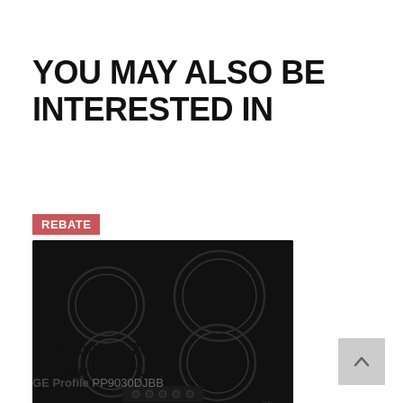YOU MAY ALSO BE INTERESTED IN
[Figure (photo): GE Profile 30-inch built-in touch electric cooktop with black glass surface and 5 burner circles, control knobs at bottom]
GE Profile™ 30" Built-In Touch...
GE Profile PP9030DJBB